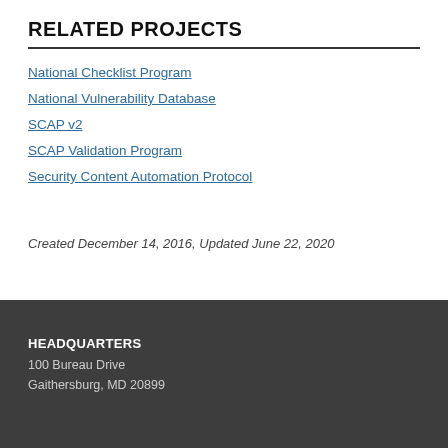RELATED PROJECTS
National Checklist Program
National Vulnerability Database
SCAP v2
SCAP Validation Program
Security Content Automation Protocol
Created December 14, 2016, Updated June 22, 2020
HEADQUARTERS
100 Bureau Drive
Gaithersburg, MD 20899